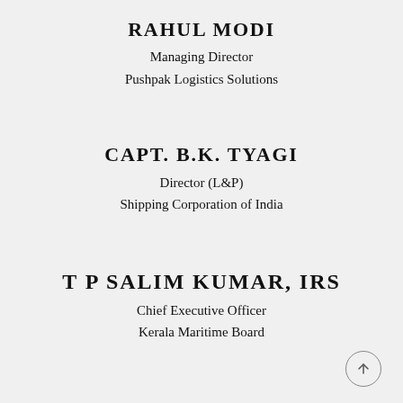RAHUL MODI
Managing Director
Pushpak Logistics Solutions
CAPT. B.K. TYAGI
Director (L&P)
Shipping Corporation of India
T P SALIM KUMAR, IRS
Chief Executive Officer
Kerala Maritime Board